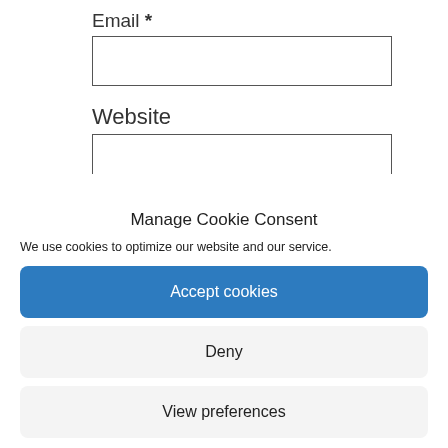Email *
Website
Manage Cookie Consent
We use cookies to optimize our website and our service.
Accept cookies
Deny
View preferences